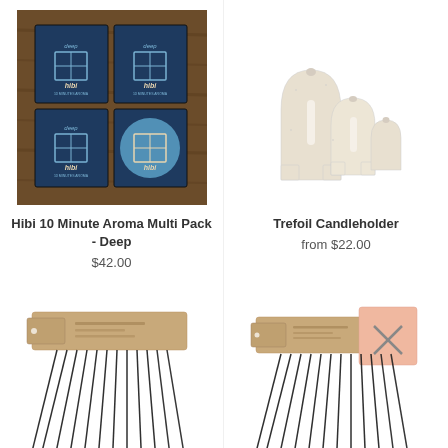[Figure (photo): Hibi 10 Minute Aroma Multi Pack - Deep product: four navy blue boxes with hibi branding arranged in a 2x2 grid on a wooden surface]
Hibi 10 Minute Aroma Multi Pack - Deep
$42.00
[Figure (photo): Trefoil Candleholder product: three white concrete arch-shaped candleholders of different sizes on white background]
Trefoil Candleholder
from $22.00
[Figure (photo): Incense sticks product bottom left: kraft paper package with dark incense sticks fanned out below]
[Figure (photo): Incense sticks product bottom right: kraft paper package with pink card and dark incense sticks fanned out below]